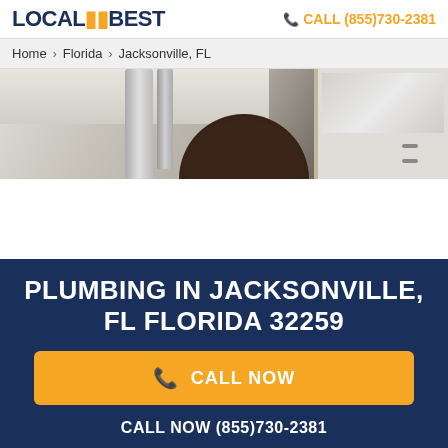LOCAL BEST   CALL (855)730-2381
Home > Florida > Jacksonville, FL
[Figure (photo): Photo of a plumber working under a sink, showing pipes and a mirror in the background]
PLUMBING IN JACKSONVILLE, FL FLORIDA 32259
CALL NOW
CALL NOW (855)730-2381